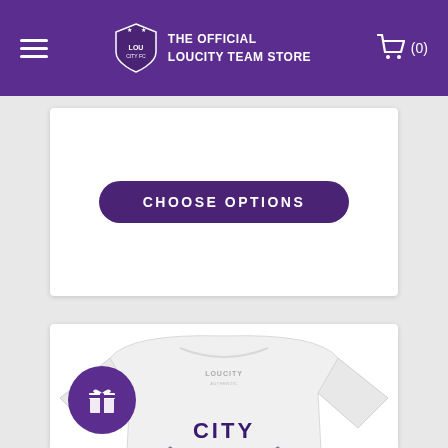THE OFFICIAL LOUCITY TEAM STORE
[Figure (screenshot): Choose Options button on white card background]
[Figure (photo): White LouCity t-shirt with purple CITY text and fleur-de-lis cross design]